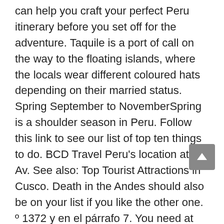can help you craft your perfect Peru itinerary before you set off for the adventure. Taquile is a port of call on the way to the floating islands, where the locals wear different coloured hats depending on their married status. Spring September to NovemberSpring is a shoulder season in Peru. Follow this link to see our list of top ten things to do. BCD Travel Peru's location at: Av. See also: Top Tourist Attractions in Cusco. Death in the Andes should also be on your list if you like the other one. º 1372 y en el párrafo 7. You need at least 3 hours to complete this mountain and enjoy the magnificent view of Machu Picchu from another mountain. Even if this means paying a little extra, this is always the best way to do it. There is also nothing wrong with causing a scene to embarass the offender in front of other passengers. How do you make payments in Peru. Along the way I recorded every cent